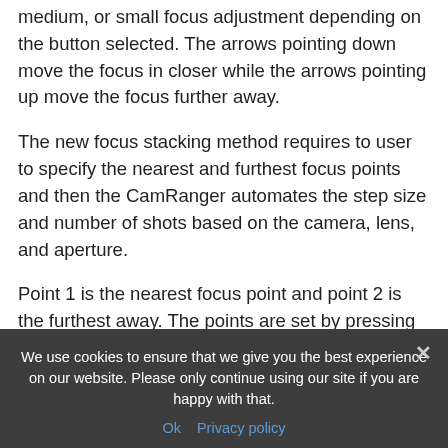medium, or small focus adjustment depending on the button selected. The arrows pointing down move the focus in closer while the arrows pointing up move the focus further away.
The new focus stacking method requires to user to specify the nearest and furthest focus points and then the CamRanger automates the step size and number of shots based on the camera, lens, and aperture.
Point 1 is the nearest focus point and point 2 is the furthest away. The points are set by pressing the respective “Set” button when the focus is at the desired point. To set the first focus point any focus adjustment method can be used. However, after a point has been set
We use cookies to ensure that we give you the best experience on our website. Please only continue using our site if you are happy with that.
Ok   Privacy policy